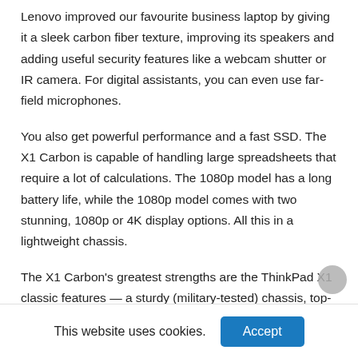Lenovo improved our favourite business laptop by giving it a sleek carbon fiber texture, improving its speakers and adding useful security features like a webcam shutter or IR camera. For digital assistants, you can even use far-field microphones.
You also get powerful performance and a fast SSD. The X1 Carbon is capable of handling large spreadsheets that require a lot of calculations. The 1080p model has a long battery life, while the 1080p model comes with two stunning, 1080p or 4K display options. All this in a lightweight chassis.
The X1 Carbon's greatest strengths are the ThinkPad X1 classic features — a sturdy (military-tested) chassis, top-of-the-line keyboard, and stylish black/red aesthetics —
This website uses cookies.
Accept